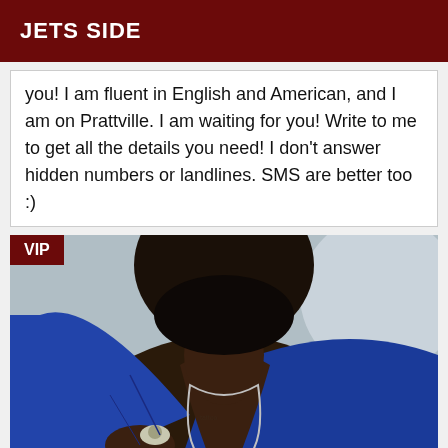JETS SIDE
you! I am fluent in English and American, and I am on Prattville. I am waiting for you! Write to me to get all the details you need! I don't answer hidden numbers or landlines. SMS are better too :)
[Figure (photo): Close-up photo of a man wearing a blue jacket and an open shirt, with a cross necklace and a skull ring, holding what appears to be a lighter. A VIP badge is overlaid in the top-left corner.]